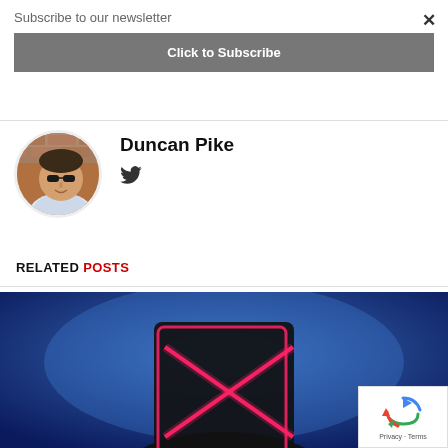Subscribe to our newsletter
×
Click to Subscribe
Duncan Pike
[Figure (illustration): Twitter bird icon]
[Figure (photo): Circular portrait photo of Duncan Pike, a man wearing sunglasses outdoors against a brick wall background]
RELATED POSTS
[Figure (photo): Dark photo showing a person in a mask with red neon X design against a blue background]
[Figure (logo): reCAPTCHA badge with Privacy and Terms text]